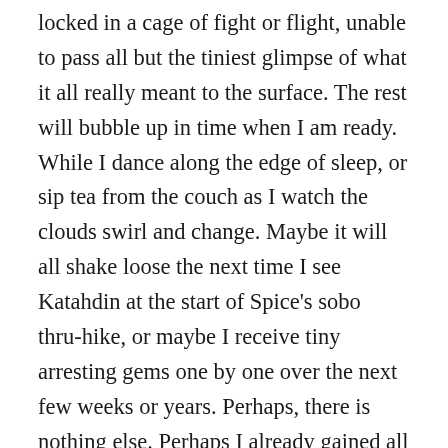locked in a cage of fight or flight, unable to pass all but the tiniest glimpse of what it all really meant to the surface. The rest will bubble up in time when I am ready. While I dance along the edge of sleep, or sip tea from the couch as I watch the clouds swirl and change. Maybe it will all shake loose the next time I see Katahdin at the start of Spice's sobo thru-hike, or maybe I receive tiny arresting gems one by one over the next few weeks or years. Perhaps, there is nothing else. Perhaps I already gained all that I will gain when my feet were on the trail, somewhere between Mexico and Canada, then between Canada and Mexico, and this time between Springer and Katahdin. Thru-hiking has always been about the journey for me anyway, not some prize or sense of